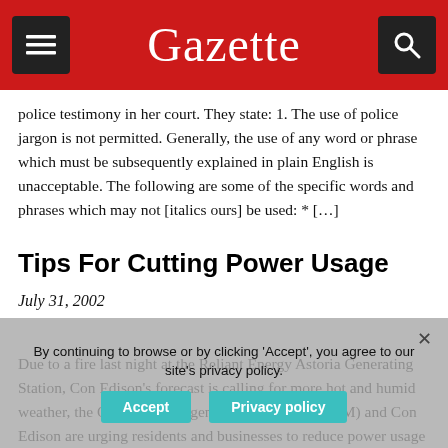Gazette
police testimony in her court. They state: 1. The use of police jargon is not permitted. Generally, the use of any word or phrase which must be subsequently explained in plain English is unacceptable. The following are some of the specific words and phrases which may not [italics ours] be used: * [...]
Tips For Cutting Power Usage
July 31, 2002
Due to a fire last night at the Reliant Energy Astoria Generating Station, Con Edison's forecast is calling for more hot and humid weather, the Office of Emergency Management (OEM) and Con Edison are urging residents and businesses to reduce power usage citywide, particularly in northern Queens. The Gazette was informed
By continuing to browse or by clicking 'Accept', you agree to our site's privacy policy.